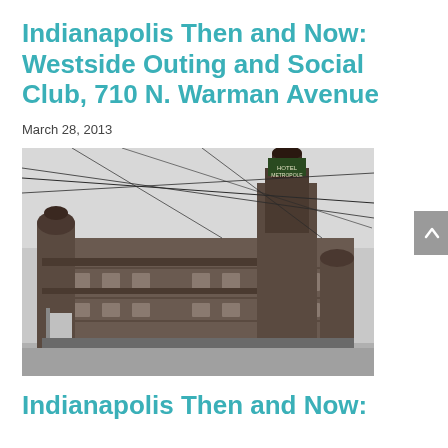Indianapolis Then and Now: Westside Outing and Social Club, 710 N. Warman Avenue
March 28, 2013
[Figure (photo): Black and white historical photograph of the Westside Outing and Social Club building at 710 N. Warman Avenue, Indianapolis. A large multi-story brick building with ornate towers and turrets, with overhead trolley wires visible above the street.]
Indianapolis Then and Now: